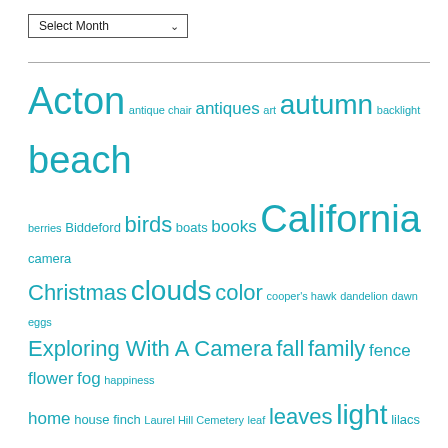[Figure (other): Dropdown selector labeled 'Select Month']
Acton antique chair antiques art autumn backlight beach berries Biddeford birds boats books California camera Christmas clouds color cooper's hawk dandelion dawn eggs Exploring With A Camera fall family fence flower fog happiness home house finch Laurel Hill Cemetery leaf leaves light lilacs Maine moon mountains moving nature nest ocean Ocean Park orange path photography photography class railroad bridge rain raindrops reflection river roadrunner Saco Saco Heath Saco River seagull seasons self portrait shadow sky snow spring still life summer sunrise sunset Susan tea teapot tree trees window winter yellow